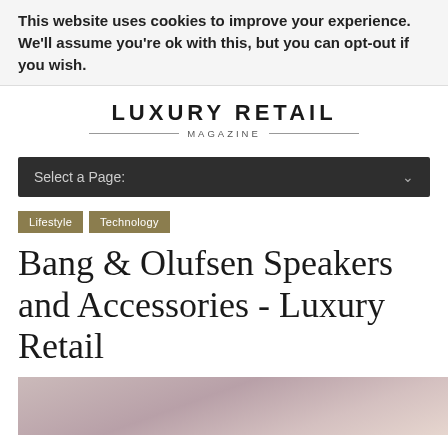This website uses cookies to improve your experience. We'll assume you're ok with this, but you can opt-out if you wish.
LUXURY RETAIL MAGAZINE
Select a Page:
Lifestyle
Technology
Bang & Olufsen Speakers and Accessories - Luxury Retail
[Figure (photo): Product photo partially visible at bottom of page]